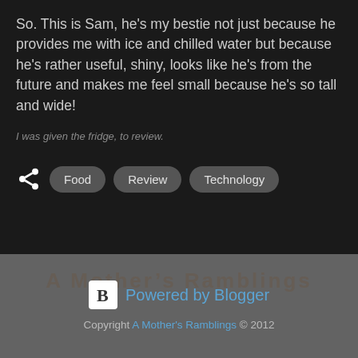So. This is Sam, he's my bestie not just because he provides me with ice and chilled water but because he's rather useful, shiny, looks like he's from the future and makes me feel small because he's so tall and wide!
I was given the fridge, to review.
Food
Review
Technology
Powered by Blogger
Copyright A Mother's Ramblings © 2012